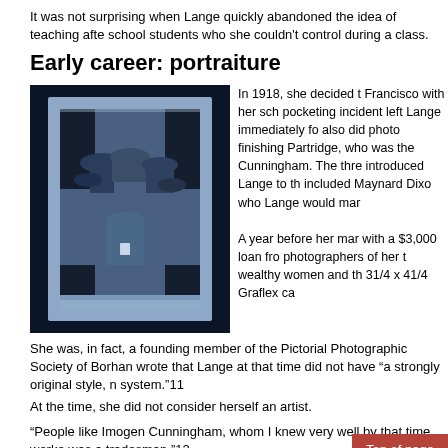It was not surprising when Lange quickly abandoned the idea of teaching after school students who she couldn't control during a class.
Early career: portraiture
[Figure (photo): Black and white / blue-tinted historical photograph showing a group of workers wearing hats, one central figure holding a cup, viewed through what appears to be a window frame.]
In 1918, she decided t Francisco with her sch pocketing incident left Lange  immediately fo also did photo finishing Partridge, who was the Cunningham. The thre introduced Lange to th included Maynard Dixo who Lange would mar A year before her mar with a $3,000 loan fro photographers of her t wealthy women and th 31/4 x 41/4 Graflex ca
She was, in fact, a founding member of the Pictorial Photographic Society of Borhan wrote that Lange at that time did not have “a strongly original style, n system.’11
At the time, she did not consider herself an artist.
“People like Imogen Cunningham, whom I knew very well by that time, worke was a tradesman.”12